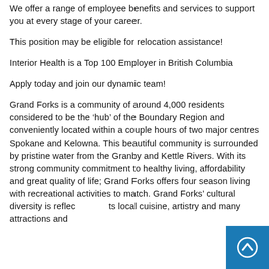We offer a range of employee benefits and services to support you at every stage of your career.
This position may be eligible for relocation assistance!
Interior Health is a Top 100 Employer in British Columbia
Apply today and join our dynamic team!
Grand Forks is a community of around 4,000 residents considered to be the ‘hub’ of the Boundary Region and conveniently located within a couple hours of two major centres Spokane and Kelowna. This beautiful community is surrounded by pristine water from the Granby and Kettle Rivers. With its strong community commitment to healthy living, affordability and great quality of life; Grand Forks offers four season living with recreational activities to match. Grand Forks’ cultural diversity is reflected in its local cuisine, artistry and many attractions and